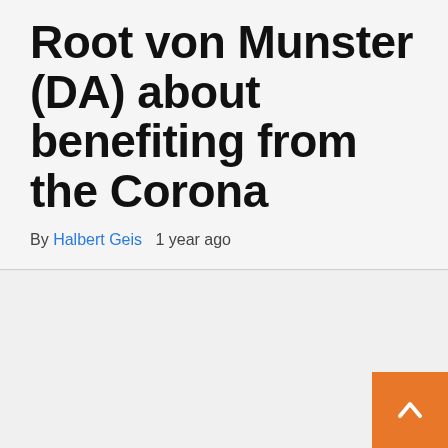Root von Munster (DA) about benefiting from the Corona
By Halbert Geis   1 year ago
[Figure (other): Large white/light gray content area below the article header, with an orange scroll-to-top button in the bottom right corner]